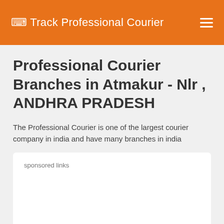Track Professional Courier
Professional Courier Branches in Atmakur - Nlr , ANDHRA PRADESH
The Professional Courier is one of the largest courier company in india and have many branches in india
sponsored links